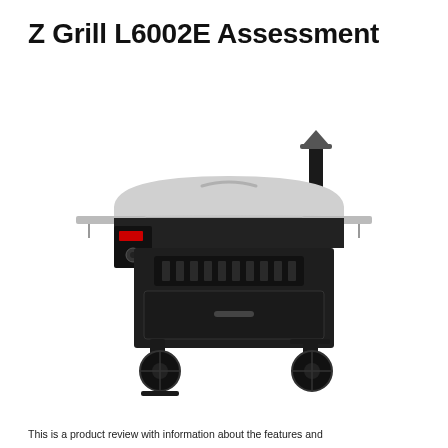Z Grill L6002E Assessment
[Figure (photo): Side view photograph of Z Grill L6002E pellet grill with silver lid, black body, side shelves, chimney stack with cap, control panel, storage drawer, and two wheels]
This is a product review with information about the features and